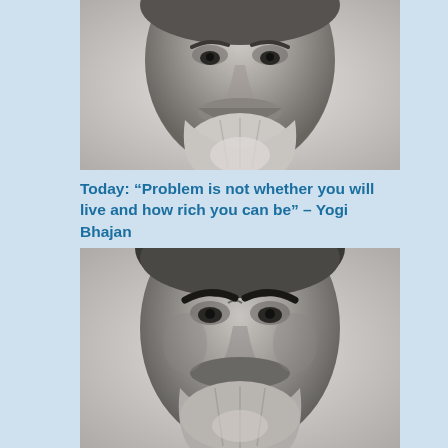[Figure (photo): Black and white close-up portrait photograph of a bearded older man with a large mustache and white beard, cropped showing mainly the lower face and beard area.]
Today: “Problem is not whether you will live and how rich you can be” – Yogi Bhajan
[Figure (photo): Black and white close-up portrait photograph of a bearded man with heavy dark eyebrows and a full beard and mustache, showing a similar face from a slightly different angle or lighting.]